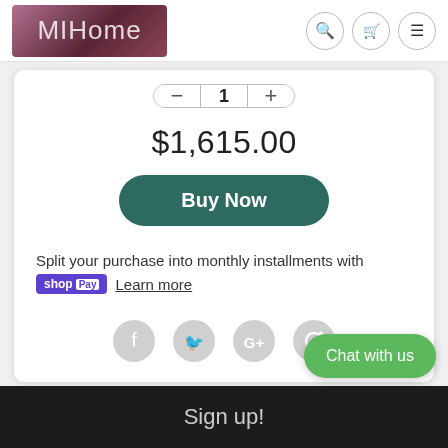[Figure (logo): MIHome logo - white/pink text on dark gradient background]
$1,615.00
Buy Now
Split your purchase into monthly installments with shop Pay Learn more
[Figure (infographic): Social media share icons: Facebook, Twitter, Google+, Pinterest]
Chat with us
Sign up!